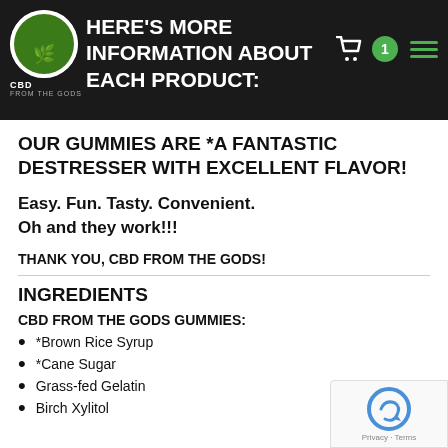HERE'S MORE INFORMATION ABOUT EACH PRODUCT:
OUR GUMMIES ARE *A FANTASTIC DESTRESSER WITH EXCELLENT FLAVOR!
Easy. Fun. Tasty. Convenient.
Oh and they work!!!
THANK YOU, CBD FROM THE GODS!
INGREDIENTS
CBD FROM THE GODS GUMMIES:
*Brown Rice Syrup
*Cane Sugar
Grass-fed Gelatin
Birch Xylitol